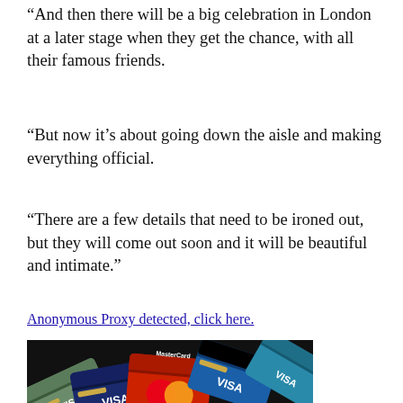“And then there will be a big celebration in London at a later stage when they get the chance, with all their famous friends.
“But now it’s about going down the aisle and making everything official.
“There are a few details that need to be ironed out, but they will come out soon and it will be beautiful and intimate.”
Anonymous Proxy detected, click here.
[Figure (photo): Photo of multiple credit cards fanned out including Visa and MasterCard cards on a dark background]